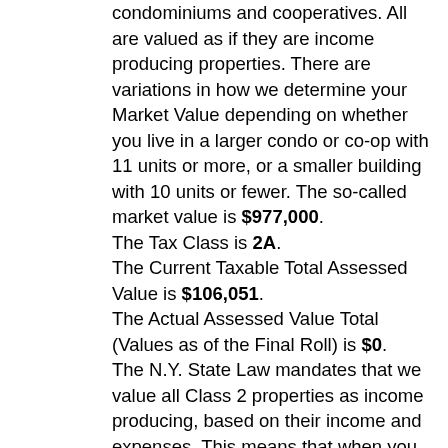condominiums and cooperatives. All are valued as if they are income producing properties. There are variations in how we determine your Market Value depending on whether you live in a larger condo or co-op with 11 units or more, or a smaller building with 10 units or fewer. The so-called market value is $977,000. The Tax Class is 2A. The Current Taxable Total Assessed Value is $106,051. The Actual Assessed Value Total (Values as of the Final Roll) is $0. The N.Y. State Law mandates that we value all Class 2 properties as income producing, based on their income and expenses. This means that when you see the Market Value that we assign to your property, it may not look like what you would expect its sales price to be. To get to your Market Value, we use a statistical model as a tool to find typical income and expenses for properties similar to yours (in terms of size, location, number of units and age). Next, we apply a formula to the income data to get to your Market Value. Class 2 properties include rental buildings, condominiums and cooperatives. All are valued as if they are income producing properties. There